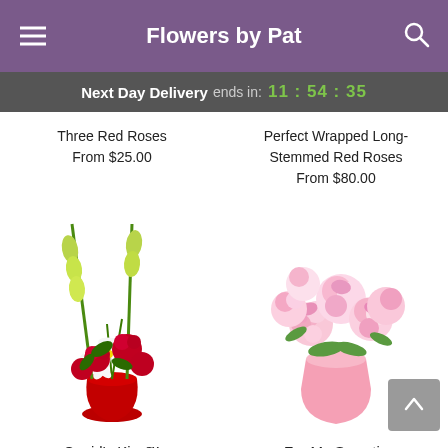Flowers by Pat
Next Day Delivery ends in: 11:54:35
Three Red Roses
From $25.00
Perfect Wrapped Long-Stemmed Red Roses
From $80.00
[Figure (photo): Flower arrangement: red roses and white lilies with gladiolus in a red vase - Cupid's Kiss]
[Figure (photo): Pink and cream roses in a pink bucket - For My Sweetie]
Cupid's Kiss™
For My Sweetie